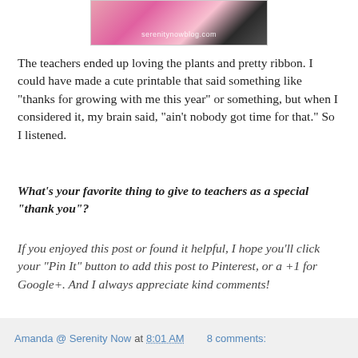[Figure (photo): Partial photo with watermark reading 'serenitynowblog.com', showing pink and black patterned items]
The teachers ended up loving the plants and pretty ribbon. I could have made a cute printable that said something like "thanks for growing with me this year" or something, but when I considered it, my brain said, "ain't nobody got time for that." So I listened.
What's your favorite thing to give to teachers as a special "thank you"?
If you enjoyed this post or found it helpful, I hope you'll click your "Pin It" button to add this post to Pinterest, or a +1 for Google+. And I always appreciate kind comments!
Amanda @ Serenity Now at 8:01 AM   8 comments: